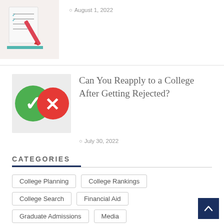[Figure (illustration): Thumbnail image showing a document/checklist with a pencil, teal and red colors]
August 1, 2022
[Figure (illustration): Thumbnail showing green checkmark circle and red X circle icons on light background]
Can You Reapply to a College After Getting Rejected?
July 30, 2022
CATEGORIES
College Planning
College Rankings
College Search
Financial Aid
Graduate Admissions
Media
Online Colleges
Uncategorized